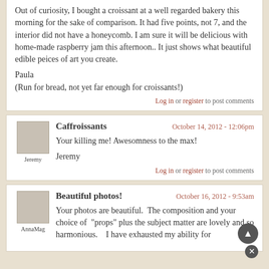Out of curiosity, I bought a croissant at a well regarded bakery this morning for the sake of comparison. It had five points, not 7, and the interior did not have a honeycomb. I am sure it will be delicious with home-made raspberry jam this afternoon.. It just shows what beautiful edible peices of art you create.

Paula
(Run for bread, not yet far enough for croissants!)
Log in or register to post comments
Caffroissants
October 14, 2012 - 12:06pm
Your killing me! Awesomness to the max!

Jeremy
Log in or register to post comments
Beautiful photos!
October 16, 2012 - 9:53am
Your photos are beautiful.  The composition and your choice of  "props" plus the subject matter are lovely and so harmonious.    I have exhausted my ability for